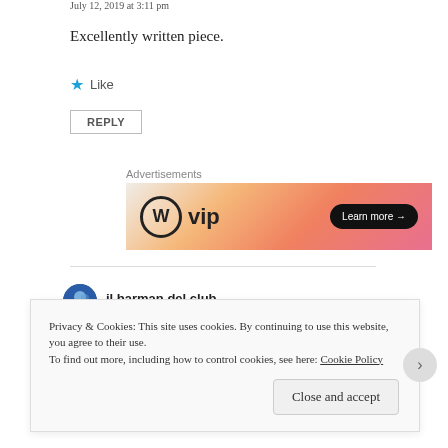July 12, 2019 at 3:11 pm
Excellently written piece.
★ Like
REPLY
Advertisements
[Figure (other): WordPress VIP advertisement banner with orange/pink gradient background and Learn more button]
il barman del club
Privacy & Cookies: This site uses cookies. By continuing to use this website, you agree to their use.
To find out more, including how to control cookies, see here: Cookie Policy
Close and accept